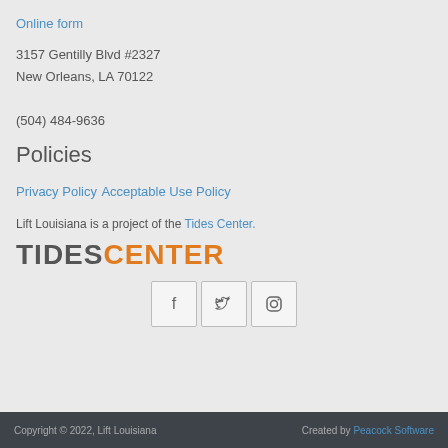Online form
3157 Gentilly Blvd #2327
New Orleans, LA 70122

(504) 484-9636
Policies
Privacy Policy
Acceptable Use Policy
Lift Louisiana is a project of the Tides Center.
[Figure (logo): Tides Center logo with TIDES in dark gray bold and CENTER in orange bold]
[Figure (other): Social media icons: Facebook, Twitter, Instagram in square bordered boxes]
Copyright © 2022, Lift Louisiana    Created by Peacock Software